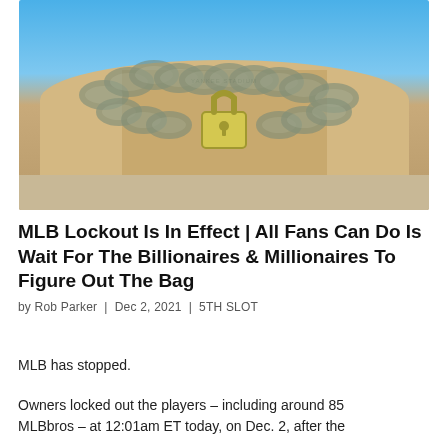[Figure (photo): Yankee Stadium exterior with large chain and padlock overlaid, blue sky background, lockout imagery]
MLB Lockout Is In Effect | All Fans Can Do Is Wait For The Billionaires & Millionaires To Figure Out The Bag
by Rob Parker | Dec 2, 2021 | 5TH SLOT
MLB has stopped.
Owners locked out the players – including around 85 MLBbros – at 12:01am ET today, on Dec. 2, after the